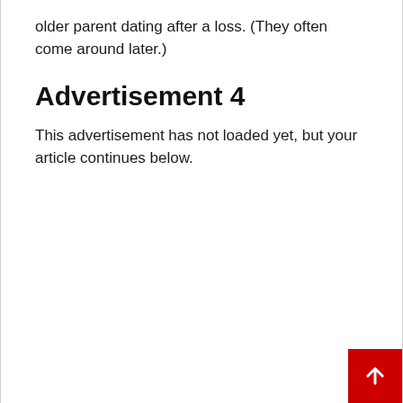older parent dating after a loss. (They often come around later.)
Advertisement 4
This advertisement has not loaded yet, but your article continues below.